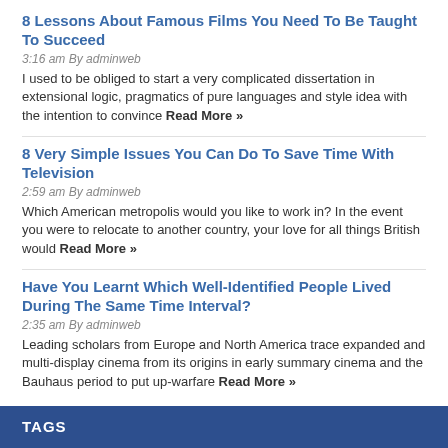8 Lessons About Famous Films You Need To Be Taught To Succeed
3:16 am By adminweb
I used to be obliged to start a very complicated dissertation in extensional logic, pragmatics of pure languages and style idea with the intention to convince Read More »
8 Very Simple Issues You Can Do To Save Time With Television
2:59 am By adminweb
Which American metropolis would you like to work in? In the event you were to relocate to another country, your love for all things British would Read More »
Have You Learnt Which Well-Identified People Lived During The Same Time Interval?
2:35 am By adminweb
Leading scholars from Europe and North America trace expanded and multi-display cinema from its origins in early summary cinema and the Bauhaus period to put up-warfare Read More »
TAGS